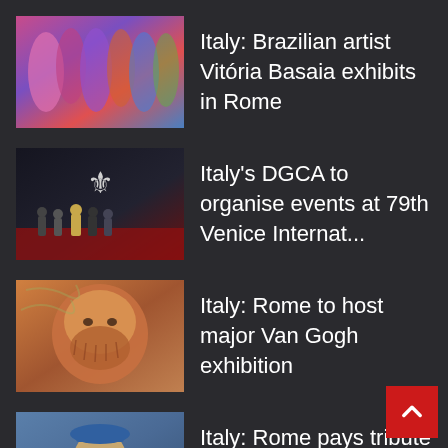Italy: Brazilian artist Vitória Basaia exhibits in Rome
Italy's DGCA to organise events at 79th Venice Internat...
Italy: Rome to host major Van Gogh exhibition
Italy: Rome pays tribute to Lucio D with Ara Pacis ...